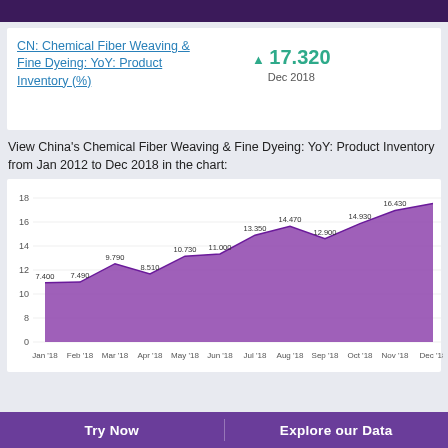CN: Chemical Fiber Weaving & Fine Dyeing: YoY: Product Inventory (%)
▲ 17.320 Dec 2018
View China's Chemical Fiber Weaving & Fine Dyeing: YoY: Product Inventory from Jan 2012 to Dec 2018 in the chart:
[Figure (area-chart): CN: Chemical Fiber Weaving & Fine Dyeing: YoY: Product Inventory (%)]
Try Now    Explore our Data